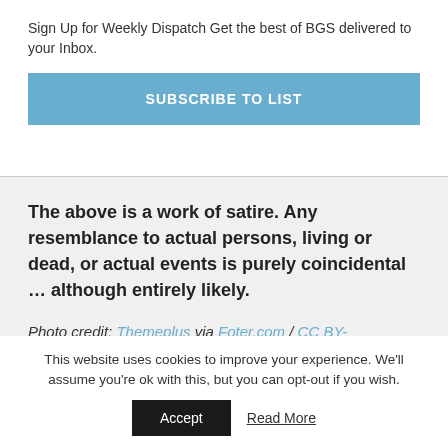Sign Up for Weekly Dispatch Get the best of BGS delivered to your Inbox.
SUBSCRIBE TO LIST
The above is a work of satire. Any resemblance to actual persons, living or dead, or actual events is purely coincidental … although entirely likely.
Photo credit: Themeplus via Foter.com / CC BY-
This website uses cookies to improve your experience. We'll assume you're ok with this, but you can opt-out if you wish.
Accept
Read More